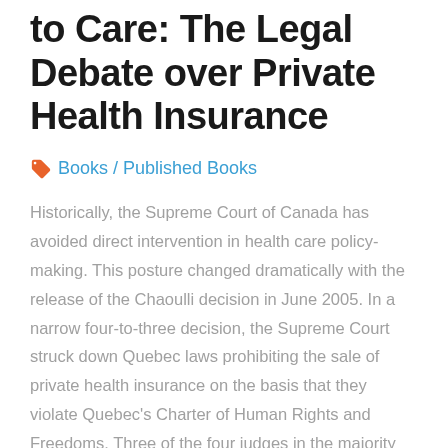to Care: The Legal Debate over Private Health Insurance
Books / Published Books
Historically, the Supreme Court of Canada has avoided direct intervention in health care policy-making. This posture changed dramatically with the release of the Chaoulli decision in June 2005. In a narrow four-to-three decision, the Supreme Court struck down Quebec laws prohibiting the sale of private health insurance on the basis that they violate Quebec's Charter of Human Rights and Freedoms. Three of the four judges in the majority also found...